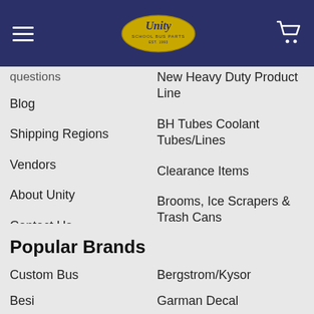Unity School Bus Parts — navigation header with logo, hamburger menu, and cart icon
questions (partial, top-clipped)
New Heavy Duty Product Line
Blog
BH Tubes Coolant Tubes/Lines
Shipping Regions
Clearance Items
Vendors
Brooms, Ice Scrapers & Trash Cans
About Unity
Contact Us
Sitemap
Popular Brands
Custom Bus
Bergstrom/Kysor
Besi
Garman Decal